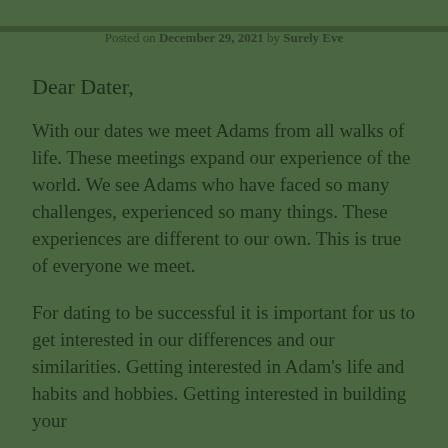Posted on December 29, 2021 by Surely Eve
Dear Dater,
With our dates we meet Adams from all walks of life. These meetings expand our experience of the world. We see Adams who have faced so many challenges, experienced so many things. These experiences are different to our own. This is true of everyone we meet.
For dating to be successful it is important for us to get interested in our differences and our similarities. Getting interested in Adam's life and habits and hobbies. Getting interested in building your